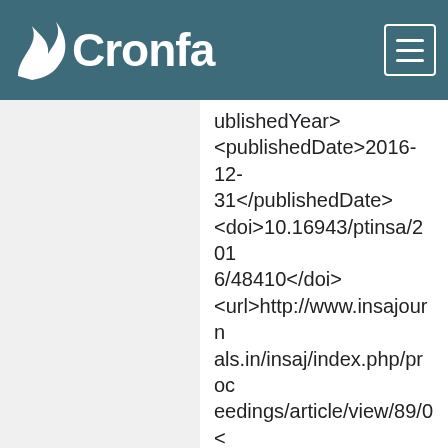Cronfa
ublishedYear><publishedDate>2016-12-31</publishedDate><doi>10.16943/ptinsa/2016/48410</doi><url>http://www.insajournals.in/insaj/index.php/proceedings/article/view/89/0</url><notes/><college>COLLEGE NANME</college><department>Civil Engineering</department><CollegeCode>COLLEGE CODE</CollegeCode><DepartmentCode>CIVL</DepartmentCode><institution>Swansea University</institution>